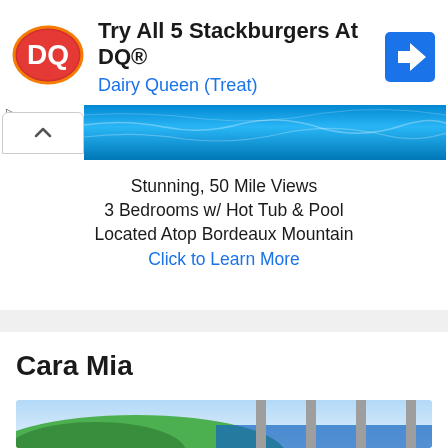[Figure (logo): Dairy Queen DQ red and orange oval logo]
Try All 5 Stackburgers At DQ®
Dairy Queen (Treat)
[Figure (photo): Blue swimming pool aerial view]
Stunning, 50 Mile Views
3 Bedrooms w/ Hot Tub & Pool
Located Atop Bordeaux Mountain
Click to Learn More
Cara Mia
[Figure (photo): Property exterior with columns, green hillside and ocean view]